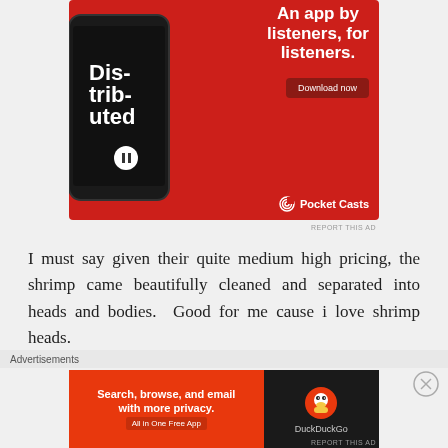[Figure (screenshot): Pocket Casts app advertisement on red background with smartphone showing podcast app and text 'An app by listeners, for listeners.' with Download now button and Pocket Casts logo]
REPORT THIS AD
I must say given their quite medium high pricing, the shrimp came beautifully cleaned and separated into heads and bodies.  Good for me cause i love shrimp heads.
Advertisements
[Figure (screenshot): DuckDuckGo advertisement: 'Search, browse, and email with more privacy. All in One Free App' on orange background with DuckDuckGo logo on dark background]